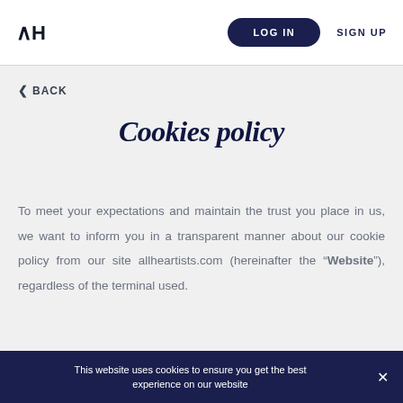AH  LOG IN  SIGN UP
< BACK
Cookies policy
To meet your expectations and maintain the trust you place in us, we want to inform you in a transparent manner about our cookie policy from our site allheartists.com (hereinafter the "Website"), regardless of the terminal used.
This website uses cookies to ensure you get the best experience on our website  ×